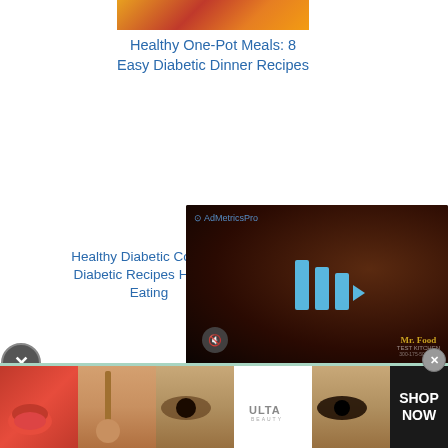[Figure (photo): Food image thumbnail showing orange/red dish, partially cropped at top]
Healthy One-Pot Meals: 8 Easy Diabetic Dinner Recipes
Healthy Diabetic Cooking: Diabetic Recipes Healthy Eating
[Figure (screenshot): AdMetricsPro video overlay with play button, Mr. Food Test Kitchen branding, mute button, dark background]
[Figure (photo): Close button (X) circle]
FREE SIGN-UP! Hundreds of Free, Diabetic-Friendly Recipes Straight to Your Inbox
[Figure (photo): Bottom ad strip: Ulta Beauty advertisement with cosmetics images (lips, brush, eyes) and SHOP NOW button]